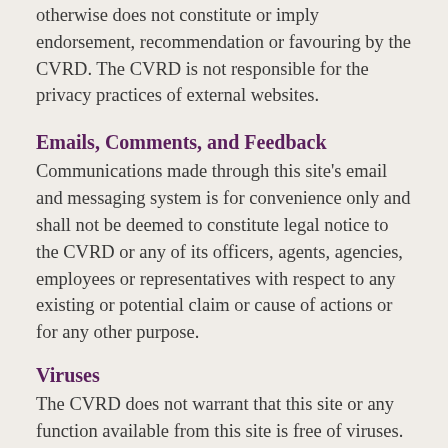otherwise does not constitute or imply endorsement, recommendation or favouring by the CVRD. The CVRD is not responsible for the privacy practices of external websites.
Emails, Comments, and Feedback
Communications made through this site's email and messaging system is for convenience only and shall not be deemed to constitute legal notice to the CVRD or any of its officers, agents, agencies, employees or representatives with respect to any existing or potential claim or cause of actions or for any other purpose.
Viruses
The CVRD does not warrant that this site or any function available from this site is free of viruses.